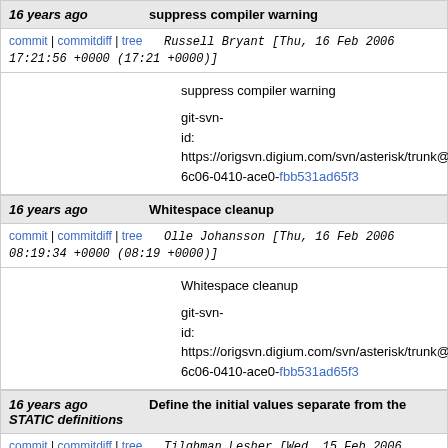16 years ago | suppress compiler warning
commit | commitdiff | tree   Russell Bryant [Thu, 16 Feb 2006 17:21:56 +0000 (17:21 +0000)]
suppress compiler warning

git-svn-id: https://origsvn.digium.com/svn/asterisk/trunk@6c06-0410-ace0-fbb531ad65f3
16 years ago | Whitespace cleanup
commit | commitdiff | tree   Olle Johansson [Thu, 16 Feb 2006 08:19:34 +0000 (08:19 +0000)]
Whitespace cleanup

git-svn-id: https://origsvn.digium.com/svn/asterisk/trunk@6c06-0410-ace0-fbb531ad65f3
16 years ago | Define the initial values separate from the STATIC definitions
commit | commitdiff | tree   Tilghman Lesher [Wed, 15 Feb 2006 23:00:07 +0000 (23:00 +0000)]